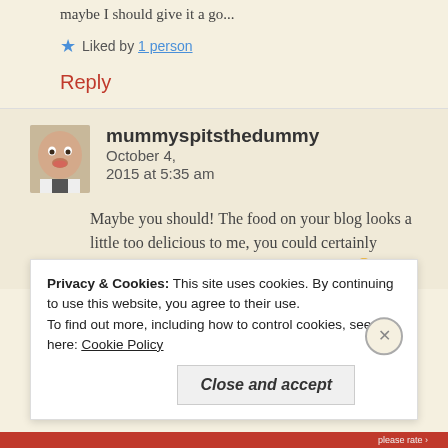maybe I should give it a go...
★ Liked by 1 person
Reply
mummyspitsthedummy   October 4, 2015 at 5:35 am
Maybe you should! The food on your blog looks a little too delicious to me, you could certainly balance it out with some heavy offerings 😛
Privacy & Cookies: This site uses cookies. By continuing to use this website, you agree to their use.
To find out more, including how to control cookies, see here: Cookie Policy
Close and accept